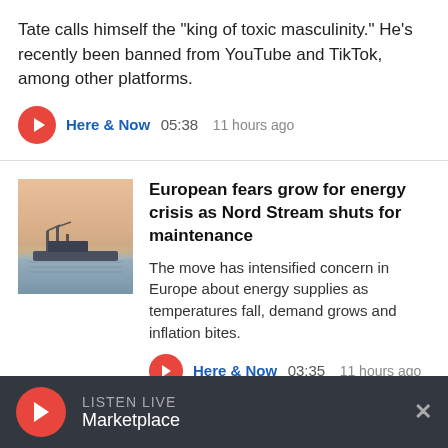Tate calls himself the "king of toxic masculinity." He's recently been banned from YouTube and TikTok, among other platforms.
Here & Now  05:38  11 hours ago
European fears grow for energy crisis as Nord Stream shuts for maintenance
The move has intensified concern in Europe about energy supplies as temperatures fall, demand grows and inflation bites.
Here & Now  03:35  11 hours ago
LISTEN LIVE  Marketplace